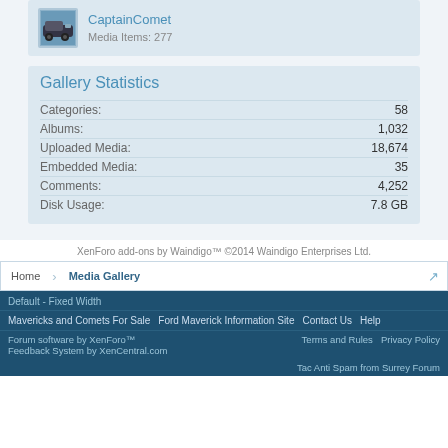[Figure (photo): CaptainComet user avatar thumbnail showing a car/vehicle image]
CaptainComet
Media Items: 277
Gallery Statistics
| Statistic | Value |
| --- | --- |
| Categories: | 58 |
| Albums: | 1,032 |
| Uploaded Media: | 18,674 |
| Embedded Media: | 35 |
| Comments: | 4,252 |
| Disk Usage: | 7.8 GB |
XenForo add-ons by Waindigo™ ©2014 Waindigo Enterprises Ltd.
Home  ›  Media Gallery
Default - Fixed Width
Mavericks and Comets For Sale
Ford Maverick Information Site
Contact Us
Help
Forum software by XenForo™
Feedback System by XenCentral.com
Terms and Rules   Privacy Policy
Tac Anti Spam from Surrey Forum